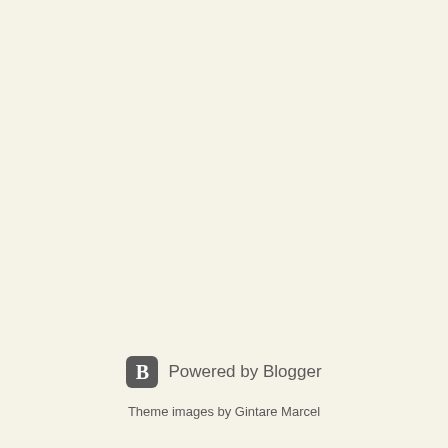Powered by Blogger
Theme images by Gintare Marcel